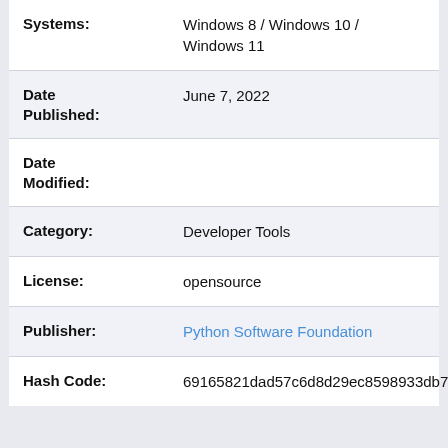| Field | Value |
| --- | --- |
| Systems: | Windows 8 / Windows 10 / Windows 11 |
| Date Published: | June 7, 2022 |
| Date Modified: |  |
| Category: | Developer Tools |
| License: | opensource |
| Publisher: | Python Software Foundation |
| Hash Code: | 69165821dad57c6d8d29ec8598933db7c4498f8ef9d477fa13c677fd82567b58 |